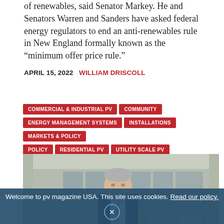of renewables, said Senator Markey. He and Senators Warren and Sanders have asked federal energy regulators to end an anti-renewables rule in New England formally known as the “minimum offer price rule.”
APRIL 15, 2022  WILLIAM DRISCOLL
COMMERCIAL & INDUSTRIAL PV
COMMUNITY
ENERGY MANAGEMENT SYSTEMS
INSTALLATIONS
MARKETS & POLICY
POLICY
RESIDENTIAL PV
UTILITY SCALE PV
MASSACHUSETTS
[Figure (photo): A man in a dark suit and striped tie speaking outdoors at a press conference, with microphones visible, in front of a building with large windows. Appears to be Senator Markey.]
Welcome to pv magazine USA. This site uses cookies. Read our policy.